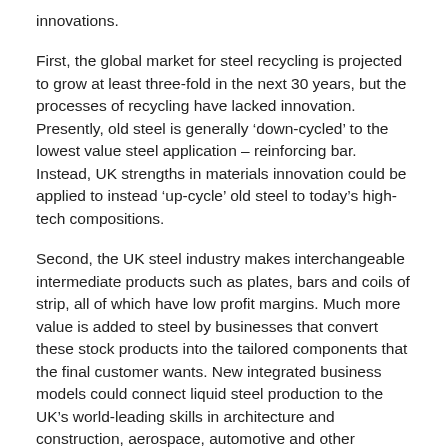innovations.
First, the global market for steel recycling is projected to grow at least three-fold in the next 30 years, but the processes of recycling have lacked innovation. Presently, old steel is generally ‘down-cycled’ to the lowest value steel application – reinforcing bar. Instead, UK strengths in materials innovation could be applied to instead ‘up-cycle’ old steel to today’s high-tech compositions.
Second, the UK steel industry makes interchangeable intermediate products such as plates, bars and coils of strip, all of which have low profit margins. Much more value is added to steel by businesses that convert these stock products into the tailored components that the final customer wants. New integrated business models could connect liquid steel production to the UK’s world-leading skills in architecture and construction, aerospace, automotive and other sectors, to find new value and innovation.
Our newly-released report, Up-cycling and integration: a strategy for innovation and leadership in a transformed UK steel industry, uses evidence gathered from over six years of applied research by 15 researchers, funded by the UK’s Engineering and Physical Sciences Research Council (EPSRC) and industrial partners spanning the global steel supply chain, to set out the case for this